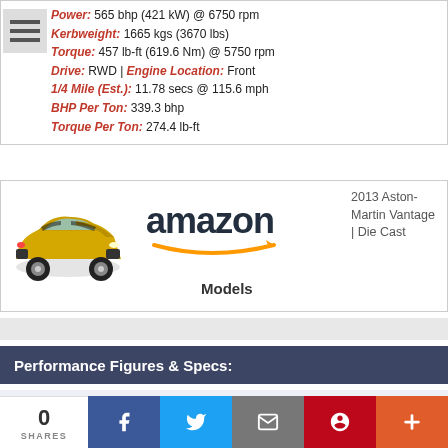Power: 565 bhp (421 kW) @ 6750 rpm
Kerbweight: 1665 kgs (3670 lbs)
Torque: 457 lb-ft (619.6 Nm) @ 5750 rpm
Drive: RWD | Engine Location: Front
1/4 Mile (Est.): 11.78 secs @ 115.6 mph
BHP Per Ton: 339.3 bhp
Torque Per Ton: 274.4 lb-ft
[Figure (photo): Yellow Aston Martin Vantage car and Amazon logo with Models text]
Performance Figures & Specs:
Choose a Car Make for a List of More Performance Figures and Specs.
0 SHARES